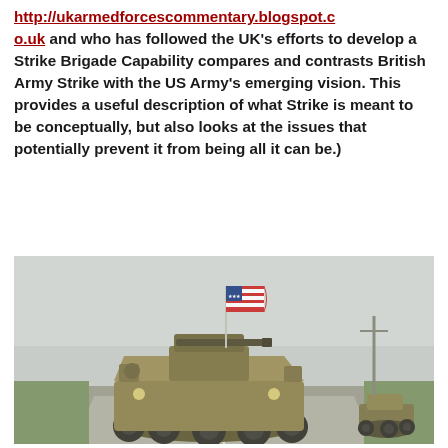http://ukarmedforcescommentary.blogspot.co.uk and who has followed the UK's efforts to develop a Strike Brigade Capability compares and contrasts British Army Strike with the US Army's emerging vision. This provides a useful description of what Strike is meant to be conceptually, but also looks at the issues that potentially prevent it from being all it can be.)
[Figure (photo): Military armored wheeled vehicle (Stryker-type) on a road with an American flag mounted on it, followed by another armored vehicle in the background. Overcast sky.]